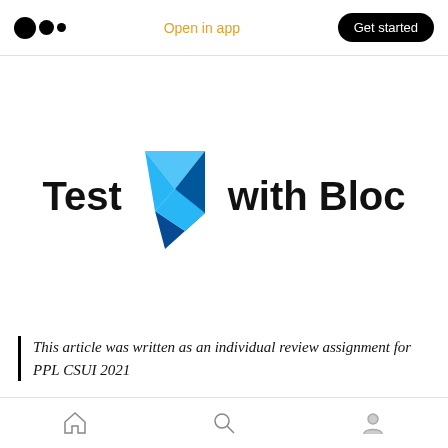Open in app  Get started
[Figure (logo): Medium logo (three black circles) on the left; Flutter logo (blue chevron/diamond shape) in the center of the hero area alongside the title text 'Test [Flutter logo] with Bloc']
Test with Bloc
This article was written as an individual review assignment for PPL CSUI 2021
Doing Testing for your project is a must, but working on it is simply not easy. just imagine you have to code so your projects work, and it is
Home  Search  Profile